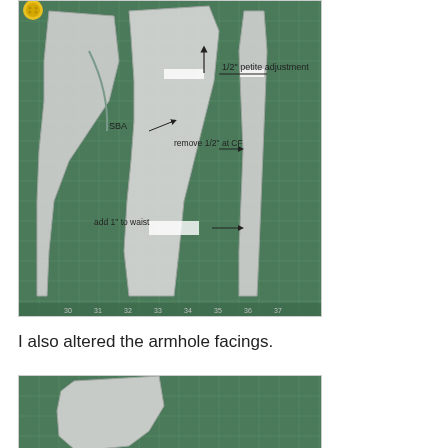[Figure (photo): Sewing pattern pieces laid on a green cutting mat with annotations: '1/2" petite adjustment' with upward arrow, 'SBA' with arrow, 'remove 1/2" at CF' with arrow, 'add 1" to waist' with arrow. A yellow button is visible in the top left corner. The pattern pieces are white/grey tissue paper.]
I also altered the armhole facings.
[Figure (photo): Partial view of sewing pattern pieces on a green cutting mat, showing the beginning of armhole facing pattern pieces.]